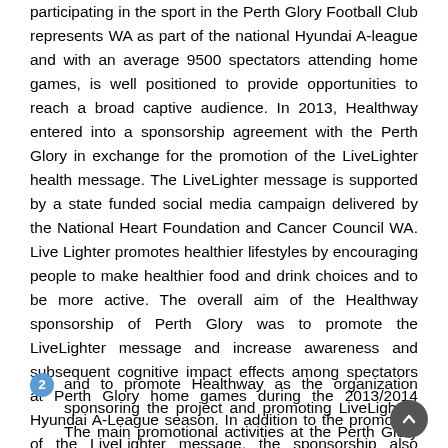participating in the sport in the Perth Glory Football Club represents WA as part of the national Hyundai A-league and with an average 9500 spectators attending home games, is well positioned to provide opportunities to reach a broad captive audience. In 2013, Healthway entered into a sponsorship agreement with the Perth Glory in exchange for the promotion of the LiveLighter health message. The LiveLighter message is supported by a state funded social media campaign delivered by the National Heart Foundation and Cancer Council WA. Live Lighter promotes healthier lifestyles by encouraging people to make healthier food and drink choices and to be more active. The overall aim of the Healthway sponsorship of Perth Glory was to promote the LiveLighter message and increase awareness and subsequent cognitive impact effects among spectators at Perth Glory home games during the 2013/2014 Hyundai A-League season. In addition to the promotion of the LiveLighter message, the sponsorship also included provision to maintain all events as smoke free
and to promote Healthway as the organization sponsoring the project and promoting LiveLighter. The main promotional activities at the Perth Glory home games